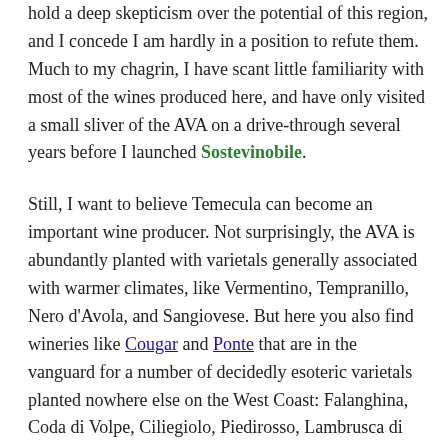hold a deep skepticism over the potential of this region, and I concede I am hardly in a position to refute them. Much to my chagrin, I have scant little familiarity with most of the wines produced here, and have only visited a small sliver of the AVA on a drive-through several years before I launched Sostevinobile.
Still, I want to believe Temecula can become an important wine producer. Not surprisingly, the AVA is abundantly planted with varietals generally associated with warmer climates, like Vermentino, Tempranillo, Nero d'Avola, and Sangiovese. But here you also find wineries like Cougar and Ponte that are in the vanguard for a number of decidedly esoteric varietals planted nowhere else on the West Coast: Falanghina, Coda di Volpe, Ciliegiolo, Piedirosso, Lambrusca di Alessandria, Brachetto d'Acqui, and—is it a wine or a